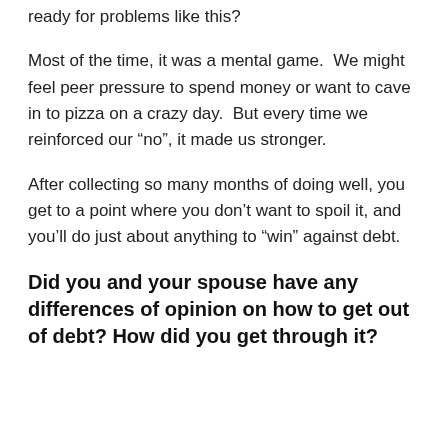ready for problems like this?
Most of the time, it was a mental game.  We might feel peer pressure to spend money or want to cave in to pizza on a crazy day.  But every time we reinforced our “no”, it made us stronger.
After collecting so many months of doing well, you get to a point where you don’t want to spoil it, and you’ll do just about anything to “win” against debt.
Did you and your spouse have any differences of opinion on how to get out of debt? How did you get through it?